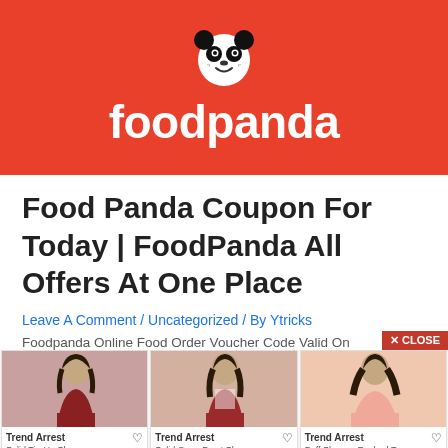[Figure (logo): Foodpanda logo on red background with panda face icon and white 'foodpanda' wordmark text]
Food Panda Coupon For Today | FoodPanda All Offers At One Place
Leave A Comment / Uncategorized / By Ytricks
Foodpanda Online Food Order Voucher Code Valid On...
[Figure (screenshot): Advertisement strip showing three Trend Arrest clothing product cards with models wearing red and pink outfits. Products: Solid Tie-Up Shrug ₹1 (Rs. 1199 OFF), Solid Open Front Shrug ₹1 (Rs. 1499 OFF), Puff Sleeves Ruched Top ₹1 (Rs. 1499 OFF). Close button in top right corner.]